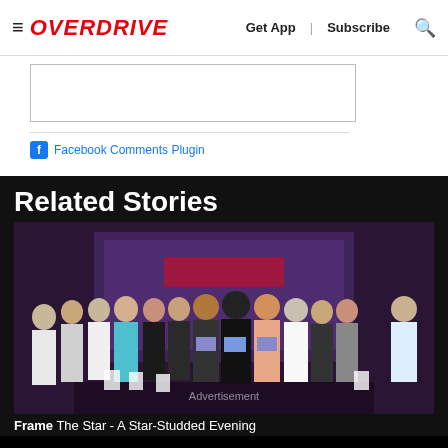≡ OVERDRIVE   Get App  |  Subscribe  🔍
[Figure (screenshot): Comment text area input box with Facebook Comments Plugin link below]
Related Stories
[Figure (photo): Group photo of approximately 14 people standing in front of a purple branded backdrop at an event, some holding award plaques and gift bags. Text overlay reads 'Advertisement'.]
Frame The Star - A Star-Studded Evening